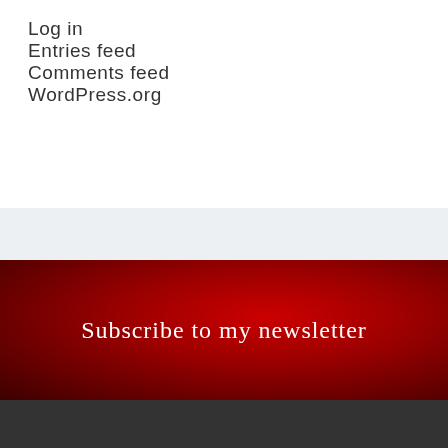Log in
Entries feed
Comments feed
WordPress.org
Subscribe to my newsletter